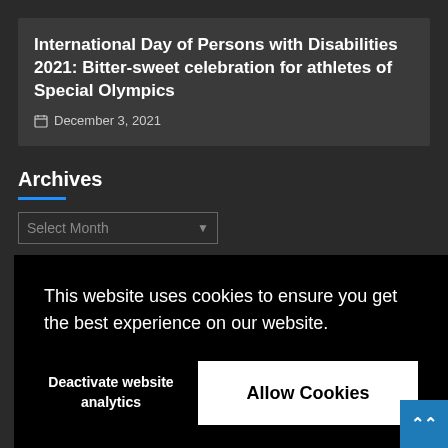International Day of Persons with Disabilities 2021: Bittersweet celebration for athletes of Special Olympics
December 3, 2021
Archives
This website uses cookies to ensure you get the best experience on our website.
Deactivate website analytics
Allow Cookies